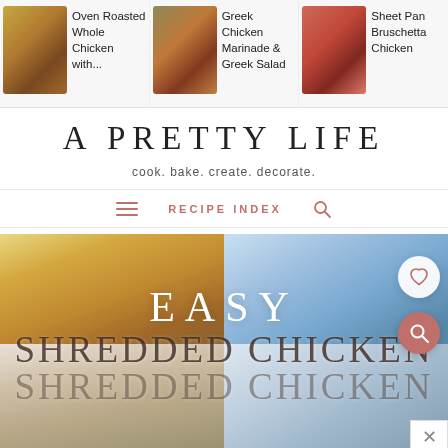[Figure (screenshot): Top navigation strip with three recipe thumbnails: Oven Roasted Whole Chicken with..., Greek Chicken Marinade & Greek Salad, Sheet Pan Bruschetta Chicken]
A PRETTY LIFE
cook. bake. create. decorate.
RECIPE INDEX
[Figure (photo): Food collage showing Easy Shredded Chicken recipes - cheesy casserole dish top left, creamy soup top right, baked chicken bottom left, pot dish bottom right with overlay text EASY SHREDDED CHICKEN]